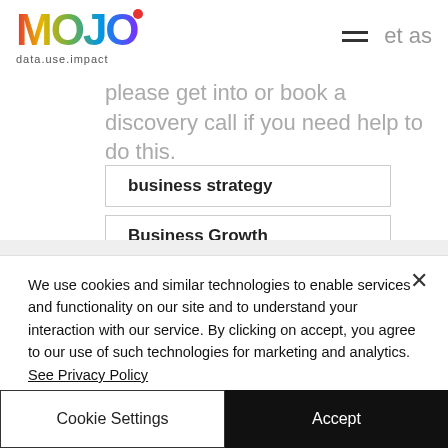[Figure (logo): MOJO logo with rainbow gradient text and tagline 'data.use.impact']
et as
please get into or book a discovery call if you need help to do this.
business strategy
Business Growth
Business Insight
We use cookies and similar technologies to enable services and functionality on our site and to understand your interaction with our service. By clicking on accept, you agree to our use of such technologies for marketing and analytics. See Privacy Policy
Cookie Settings
Accept